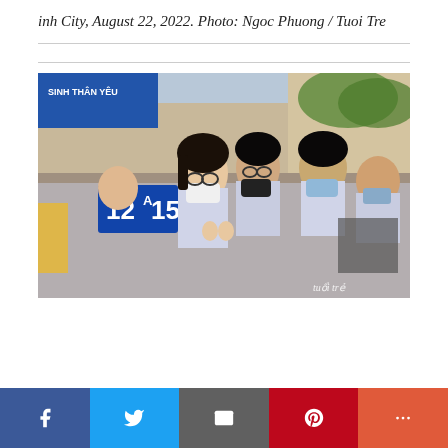inh City, August 22, 2022. Photo: Ngoc Phuong / Tuoi Tre
[Figure (photo): Vietnamese high school students in uniforms wearing face masks, sitting outdoors, holding up finger heart gestures. A sign reading '12A15' is visible. Watermark reads 'tuổi trẻ' in bottom right corner.]
Social share bar: Facebook, Twitter, Email, Pinterest, More